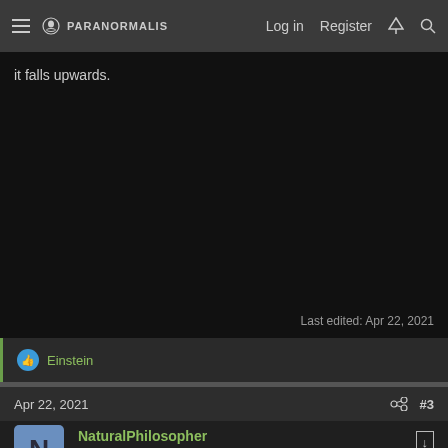≡ PARANORMALIS  Log in  Register  ⚡ 🔍
it falls upwards.
Last edited: Apr 22, 2021
👍 Einstein
Apr 22, 2021  #3
NaturalPhilosopher
Senior Member